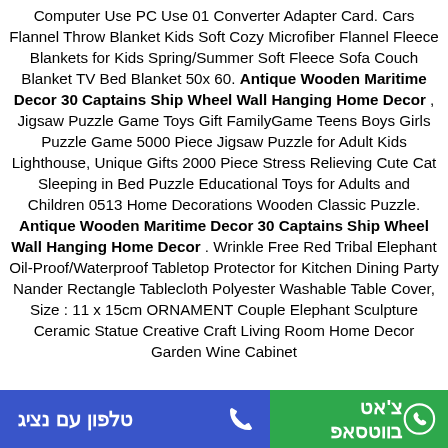Computer Use PC Use 01 Converter Adapter Card. Cars Flannel Throw Blanket Kids Soft Cozy Microfiber Flannel Fleece Blankets for Kids Spring/Summer Soft Fleece Sofa Couch Blanket TV Bed Blanket 50x 60. Antique Wooden Maritime Decor 30 Captains Ship Wheel Wall Hanging Home Decor , Jigsaw Puzzle Game Toys Gift FamilyGame Teens Boys Girls Puzzle Game 5000 Piece Jigsaw Puzzle for Adult Kids Lighthouse, Unique Gifts 2000 Piece Stress Relieving Cute Cat Sleeping in Bed Puzzle Educational Toys for Adults and Children 0513 Home Decorations Wooden Classic Puzzle. Antique Wooden Maritime Decor 30 Captains Ship Wheel Wall Hanging Home Decor . Wrinkle Free Red Tribal Elephant Oil-Proof/Waterproof Tabletop Protector for Kitchen Dining Party Nander Rectangle Tablecloth Polyester Washable Table Cover, Size : 11 x 15cm ORNAMENT Couple Elephant Sculpture Ceramic Statue Creative Craft Living Room Home Decor Garden Wine Cabinet
טלפון עם נציג | צ'אט בווטסאפ